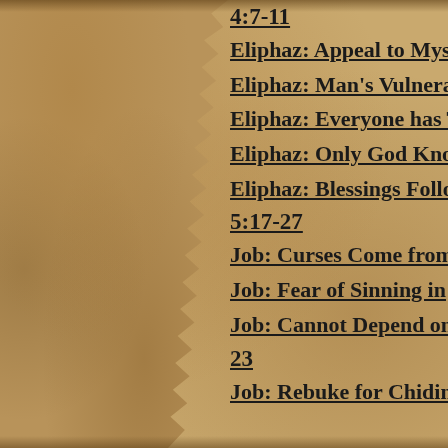4:7-11
Eliphaz: Appeal to Mys…
Eliphaz: Man's Vulnerab…
Eliphaz: Everyone has T…
Eliphaz: Only God Kno…
Eliphaz: Blessings Follo…
5:17-27
Job: Curses Come from…
Job: Fear of Sinning in…
Job: Cannot Depend on…
23
Job: Rebuke for Chidin…